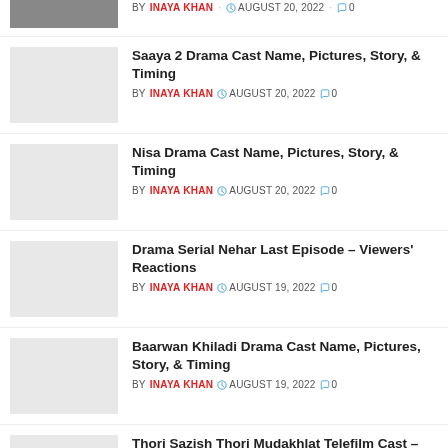Saaya 2 Drama Cast Name, Pictures, Story, & Timing — BY INAYA KHAN · AUGUST 20, 2022 · 0
Nisa Drama Cast Name, Pictures, Story, & Timing — BY INAYA KHAN · AUGUST 20, 2022 · 0
Drama Serial Nehar Last Episode – Viewers' Reactions — BY INAYA KHAN · AUGUST 19, 2022 · 0
Baarwan Khiladi Drama Cast Name, Pictures, Story, & Timing — BY INAYA KHAN · AUGUST 19, 2022 · 0
Thori Sazish Thori Mudakhlat Telefilm Cast – Hum TV — BY INAYA KHAN · AUGUST 14, 2022 · 0